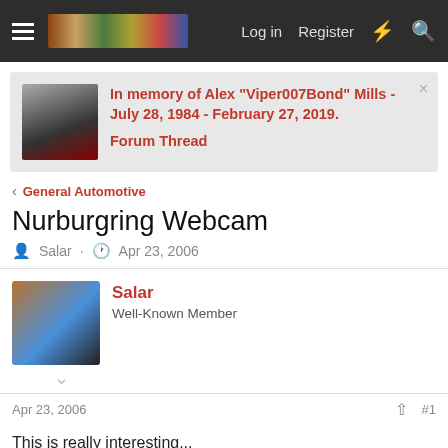Log in  Register
In memory of Alex "Viper007Bond" Mills - July 28, 1984 - February 27, 2019.
Forum Thread
General Automotive
Nurburgring Webcam
Salar · Apr 23, 2006
Salar
Well-Known Member
Apr 23, 2006  #1
This is really interesting...
http://www.nurburgring.org.uk/webcams.html